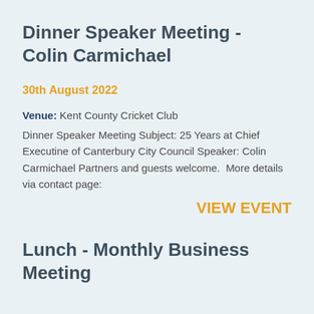Dinner Speaker Meeting - Colin Carmichael
30th August 2022
Venue: Kent County Cricket Club
Dinner Speaker Meeting Subject: 25 Years at Chief Executine of Canterbury City Council Speaker: Colin Carmichael Partners and guests welcome.  More details via contact page:
VIEW EVENT
Lunch - Monthly Business Meeting